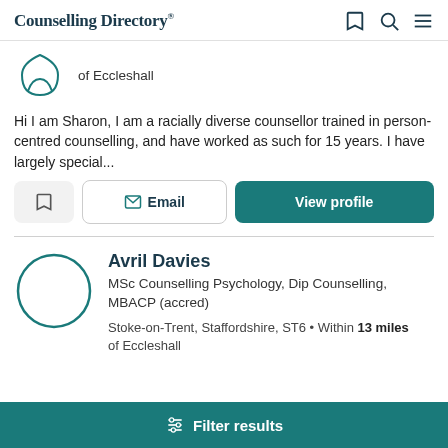Counselling Directory
of Eccleshall
Hi I am Sharon, I am a racially diverse counsellor trained in person-centred counselling, and have worked as such for 15 years. I have largely special...
Avril Davies
MSc Counselling Psychology, Dip Counselling, MBACP (accred)
Stoke-on-Trent, Staffordshire, ST6 • Within 13 miles of Eccleshall
Filter results